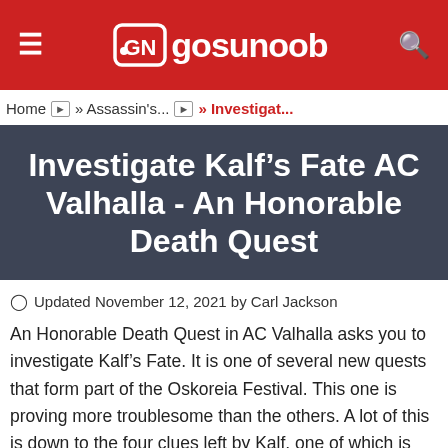gosunoob
Home » Assassin's... » Investigat...
Investigate Kalf's Fate AC Valhalla - An Honorable Death Quest
Updated November 12, 2021 by Carl Jackson
An Honorable Death Quest in AC Valhalla asks you to investigate Kalf's Fate. It is one of several new quests that form part of the Oskoreia Festival. This one is proving more troublesome than the others. A lot of this is down to the four clues left by Kalf, one of which is very well hidden. Read on as we tell you how to finish the Honorable Death Quest in